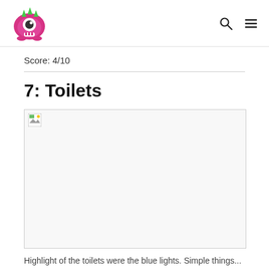Score: 4/10
7: Toilets
[Figure (photo): Image placeholder (broken/unloaded image) showing a broken image icon in top-left corner, wide landscape format]
Highlight of the toilets were the blue lights. Simple things...